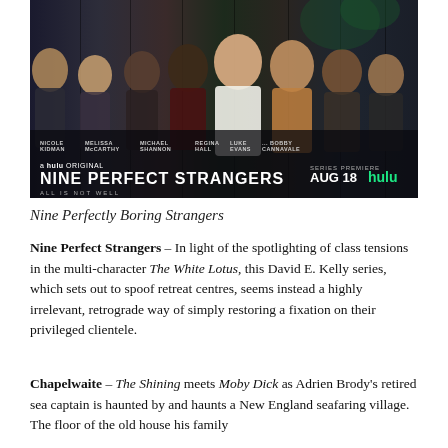[Figure (photo): Promotional poster for Nine Perfect Strangers on Hulu. Shows ensemble cast of actors including Nicole Kidman, Melissa McCarthy, Michael Shannon, Regina Hall, Luke Evans, Bobby Cannavale. White text reads 'a hulu ORIGINAL', 'NINE PERFECT STRANGERS', 'ALL IS NOT WELL', 'SERIES PREMIERE AUG 18 hulu'.]
Nine Perfectly Boring Strangers
Nine Perfect Strangers – In light of the spotlighting of class tensions in the multi-character The White Lotus, this David E. Kelly series, which sets out to spoof retreat centres, seems instead a highly irrelevant, retrograde way of simply restoring a fixation on their privileged clientele.
Chapelwaite – The Shining meets Moby Dick as Adrien Brody's retired sea captain is haunted by and haunts a New England seafaring village. The floor of the old house his family